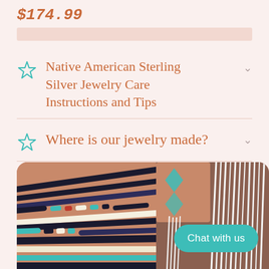$174.99
Native American Sterling Silver Jewelry Care Instructions and Tips
Where is our jewelry made?
[Figure (photo): Photo of Native American jewelry including beaded turquoise necklaces on the left and white fringe earrings on the right, displayed on a terracotta/rust colored background with rounded top corners. A teal 'Chat with us' button overlays the bottom right.]